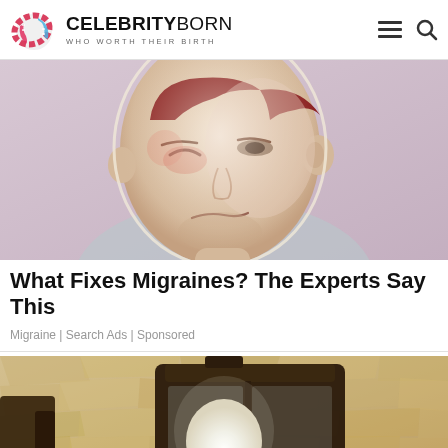CELEBRITYBORN — WHO WORTH THEIR BIRTH
[Figure (illustration): Digital illustration of a man in pain squinting one eye, suggesting a migraine headache, with a glowing oval outline around his head on a purple-pink background.]
What Fixes Migraines? The Experts Say This
Migraine | Search Ads | Sponsored
[Figure (photo): Photo of a wall-mounted outdoor lantern light fixture with a round bulb, attached to a textured beige stone wall, with a scroll-to-top button in the lower right.]